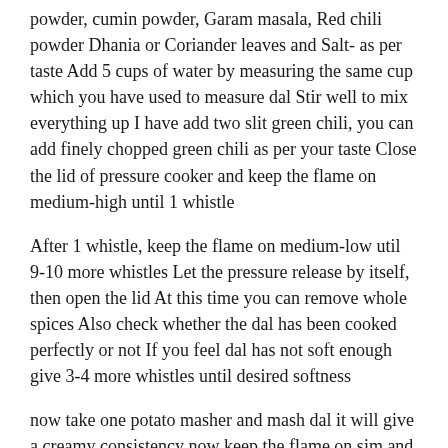powder, cumin powder, Garam masala, Red chili powder Dhania or Coriander leaves and Salt- as per taste Add 5 cups of water by measuring the same cup which you have used to measure dal Stir well to mix everything up I have add two slit green chili, you can add finely chopped green chili as per your taste Close the lid of pressure cooker and keep the flame on medium-high until 1 whistle
After 1 whistle, keep the flame on medium-low util 9-10 more whistles Let the pressure release by itself, then open the lid At this time you can remove whole spices Also check whether the dal has been cooked perfectly or not If you feel dal has not soft enough give 3-4 more whistles until desired softness
now take one potato masher and mash dal it will give a creamy consistency now keep the flame on sim and let it boil for 10 minutes I have used homemade cream for this recipe You can use store bought cream also but make sure to use room temperature cream in the recipe
Dal has been cooked for 10 minutes, already it has turned